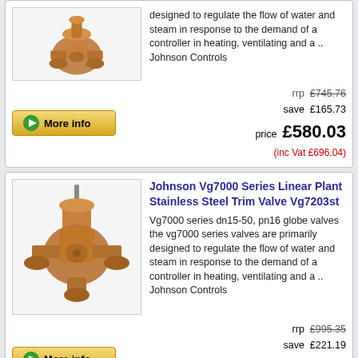[Figure (photo): Bronze globe valve product photo - partially visible at top of page]
designed to regulate the flow of water and steam in response to the demand of a controller in heating, ventilating and a .. Johnson Controls
rrp £745.76
save £165.73
price £580.03
(inc Vat £696.04)
[Figure (screenshot): More info button with green arrow]
Johnson Vg7000 Series Linear Plant Stainless Steel Trim Valve Vg7203st
[Figure (photo): Bronze globe valve Vg7000 series product photo]
Vg7000 series dn15-50, pn16 globe valves the vg7000 series valves are primarily designed to regulate the flow of water and steam in response to the demand of a controller in heating, ventilating and a .. Johnson Controls
rrp £995.35
save £221.19
price £774.16
(inc Vat £928.99)
[Figure (screenshot): More info button with green arrow]